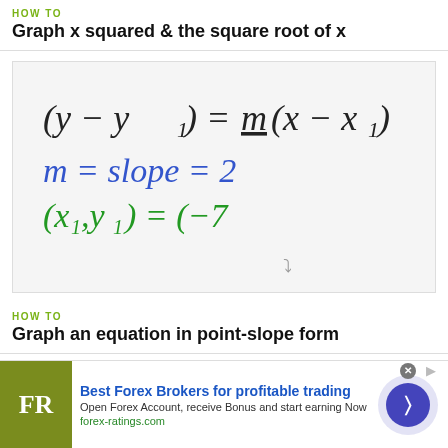HOW TO
Graph x squared & the square root of x
[Figure (photo): Handwritten math on whiteboard showing point-slope form equation: (y-y₁) = m(x-x₁), m = slope = 2, (x₁,y₁) = (-7]
HOW TO
Graph an equation in point-slope form
[Figure (screenshot): Partial view of a second video thumbnail, partially obscured by advertisement]
[Figure (infographic): Advertisement banner: FR logo, Best Forex Brokers for profitable trading, Open Forex Account, receive Bonus and start earning Now, forex-ratings.com, with navigation arrow button]